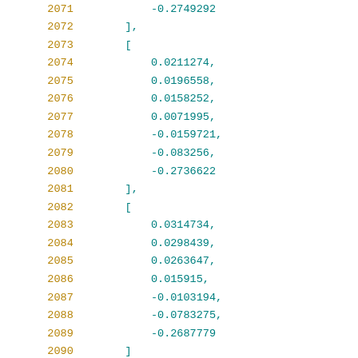2071    -0.2749292
2072    ],
2073    [
2074        0.0211274,
2075        0.0196558,
2076        0.0158252,
2077        0.0071995,
2078        -0.0159721,
2079        -0.083256,
2080        -0.2736622
2081    ],
2082    [
2083        0.0314734,
2084        0.0298439,
2085        0.0263647,
2086        0.015915,
2087        -0.0103194,
2088        -0.0783275,
2089        -0.2687779
2090    ]
2091        ]
2092    ]